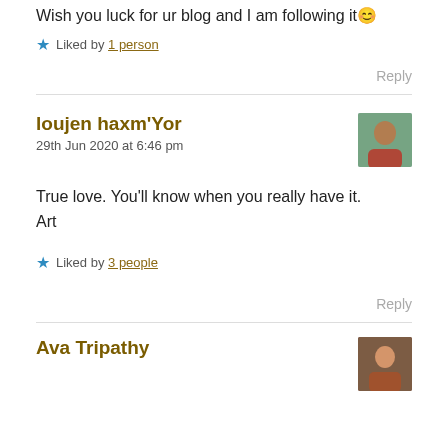Wish you luck for ur blog and I am following it 😊
★ Liked by 1 person
Reply
loujen haxm'Yor
29th Jun 2020 at 6:46 pm
True love. You'll know when you really have it. Art
★ Liked by 3 people
Reply
Ava Tripathy